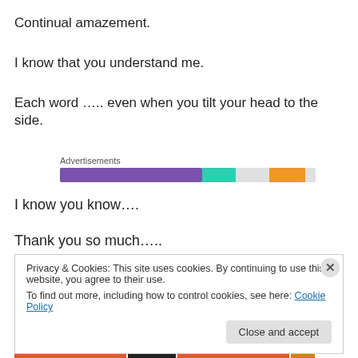Continual amazement.
I know that you understand me.
Each word ….. even when you tilt your head to the side.
[Figure (infographic): Advertisements bar with purple, teal, and orange colored segments on a light gray background]
I know you know….
Thank you so much…..
Privacy & Cookies: This site uses cookies. By continuing to use this website, you agree to their use.
To find out more, including how to control cookies, see here: Cookie Policy